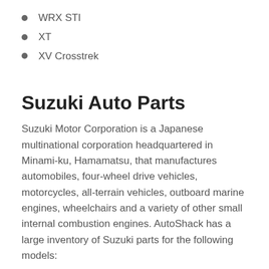WRX STI
XT
XV Crosstrek
Suzuki Auto Parts
Suzuki Motor Corporation is a Japanese multinational corporation headquartered in Minami-ku, Hamamatsu, that manufactures automobiles, four-wheel drive vehicles, motorcycles, all-terrain vehicles, outboard marine engines, wheelchairs and a variety of other small internal combustion engines. AutoShack has a large inventory of Suzuki parts for the following models: